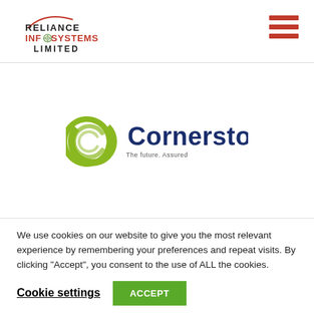[Figure (logo): Reliance Infosystems Limited logo - top left header]
[Figure (logo): Hamburger menu icon (three red horizontal bars) - top right header]
[Figure (logo): Cornerstone logo with green circular icon and dark blue text 'Cornerstone' with tagline 'The future. Assured']
We use cookies on our website to give you the most relevant experience by remembering your preferences and repeat visits. By clicking “Accept”, you consent to the use of ALL the cookies.
Cookie settings
ACCEPT